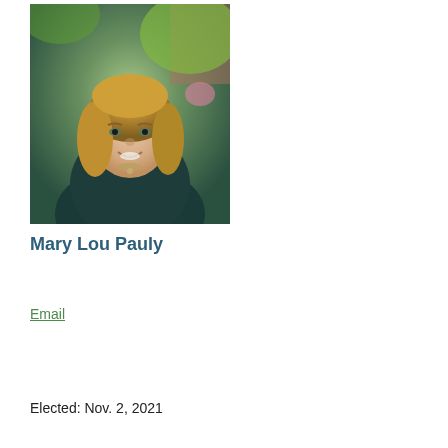[Figure (photo): Portrait photo of Mary Lou Pauly, a woman with blonde hair wearing a dark teal blazer and necklace, photographed outdoors with green foliage and brick in the background.]
Mary Lou Pauly
Email
Elected: Nov. 2, 2021